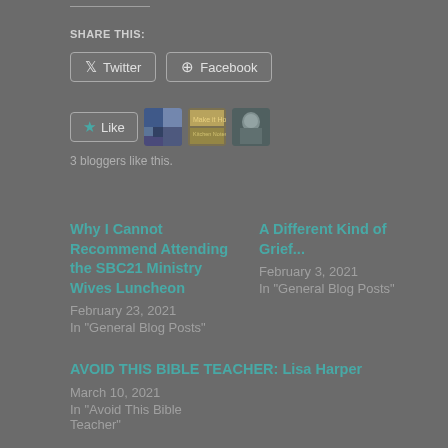Share this:
Twitter  Facebook
Like  3 bloggers like this.
Why I Cannot Recommend Attending the SBC21 Ministry Wives Luncheon
February 23, 2021
In "General Blog Posts"
A Different Kind of Grief...
February 3, 2021
In "General Blog Posts"
AVOID THIS BIBLE TEACHER: Lisa Harper
March 10, 2021
In "Avoid This Bible Teacher"